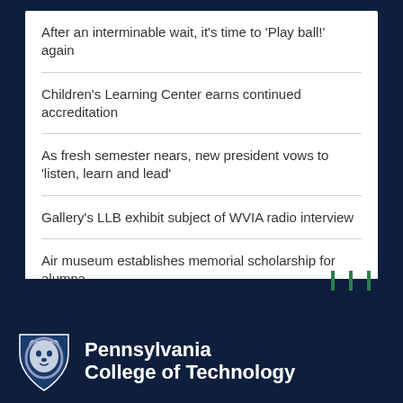After an interminable wait, it's time to 'Play ball!' again
Children's Learning Center earns continued accreditation
As fresh semester nears, new president vows to 'listen, learn and lead'
Gallery's LLB exhibit subject of WVIA radio interview
Air museum establishes memorial scholarship for alumna
[Figure (logo): Pennsylvania College of Technology lion shield logo with institution name]